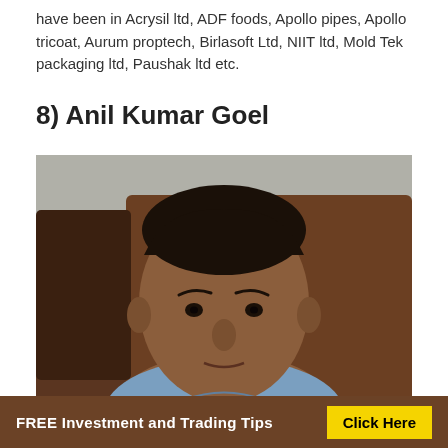have been in Acrysil ltd, ADF foods, Apollo pipes, Apollo tricoat, Aurum proptech, Birlasoft Ltd, NIIT ltd, Mold Tek packaging ltd, Paushak ltd etc.
8) Anil Kumar Goel
[Figure (photo): Portrait photo of Anil Kumar Goel, an older Indian man wearing a light blue shirt, seated in front of a brown leather couch/sofa, photographed indoors.]
FREE Investment and Trading Tips  Click Here